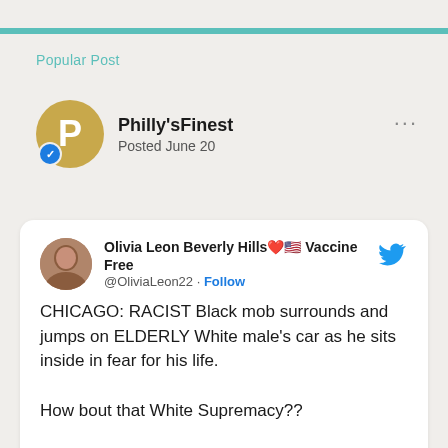Popular Post
Philly'sFinest
Posted June 20
[Figure (screenshot): Embedded tweet screenshot from @OliviaLeon22 (Olivia Leon Beverly Hills, Vaccine Free) containing text: 'CHICAGO: RACIST Black mob surrounds and jumps on ELDERLY White male's car as he sits inside in fear for his life. How bout that White Supremacy?? #VictimMentality']